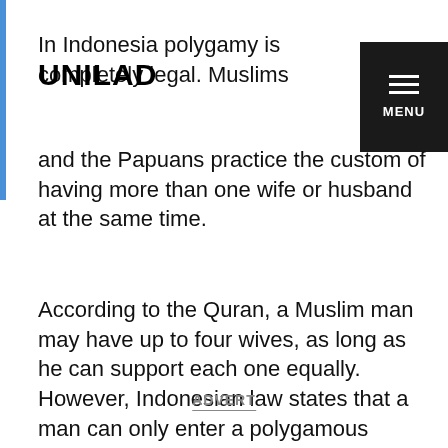UNILAD
In Indonesia polygamy is completely legal. Muslims and the Papuans practice the custom of having more than one wife or husband at the same time.
According to the Quran, a Muslim man may have up to four wives, as long as he can support each one equally. However, Indonesian law states that a man can only enter a polygamous marriage if he has the consent of his first wife.
ADVERT